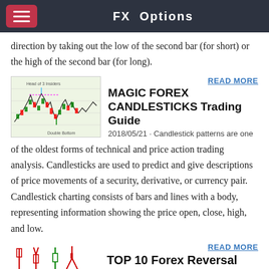FX Options
direction by taking out the low of the second bar (for short) or the high of the second bar (for long).
[Figure (screenshot): Candlestick chart showing multiple patterns including Double Bottom]
READ MORE
MAGIC FOREX CANDLESTICKS Trading Guide
2018/05/21 · Candlestick patterns are one of the oldest forms of technical and price action trading analysis. Candlesticks are used to predict and give descriptions of price movements of a security, derivative, or currency pair. Candlestick charting consists of bars and lines with a body, representing information showing the price open, close, high, and low.
[Figure (illustration): Forex candlestick reversal pattern illustrations showing hammer, inverted hammer, hanging man, shooting star]
READ MORE
TOP 10 Forex Reversal